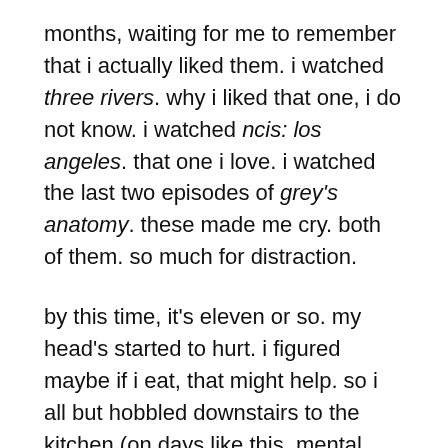months, waiting for me to remember that i actually liked them. i watched three rivers. why i liked that one, i do not know. i watched ncis: los angeles. that one i love. i watched the last two episodes of grey's anatomy. these made me cry. both of them. so much for distraction.
by this time, it's eleven or so. my head's started to hurt. i figured maybe if i eat, that might help. so i all but hobbled downstairs to the kitchen (on days like this, mental anguish begins to take on a physical form, and all my joints hurt, especially my knees and ankles) to pour a giant bowl of cheerios.
i camped out on the sofa and flipped through a